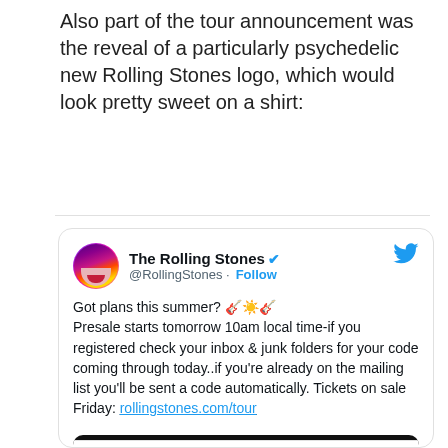Also part of the tour announcement was the reveal of a particularly psychedelic new Rolling Stones logo, which would look pretty sweet on a shirt:
[Figure (screenshot): Tweet from @RollingStones (verified) with text: 'Got plans this summer? 🎸☀️🎸 Presale starts tomorrow 10am local time-if you registered check your inbox & junk folders for your code coming through today..if you're already on the mailing list you'll be sent a code automatically. Tickets on sale Friday: rollingstones.com/tour' with an attached image showing the word SIXTY in colorful psychedelic letters and STONES EUROPE text below.]